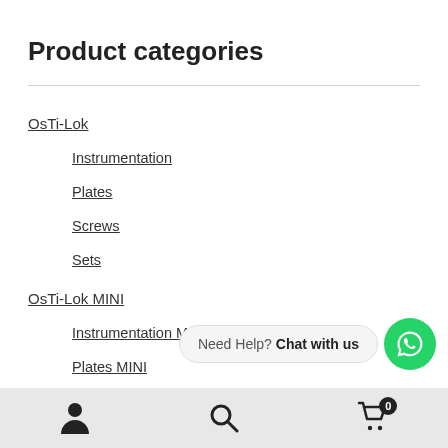Product categories
OsTi-Lok
Instrumentation
Plates
Screws
Sets
OsTi-Lok MINI
Instrumentation MINI
Plates MINI
Need Help? Chat with us
Navigation toolbar with user icon, search icon, and cart with badge 0